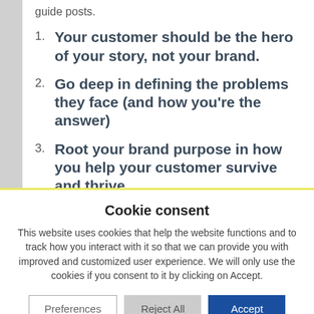guide posts.
Your customer should be the hero of your story, not your brand.
Go deep in defining the problems they face (and how you're the answer)
Root your brand purpose in how you help your customer survive and thrive.
Cookie consent
This website uses cookies that help the website functions and to track how you interact with it so that we can provide you with improved and customized user experience. We will only use the cookies if you consent to it by clicking on Accept.